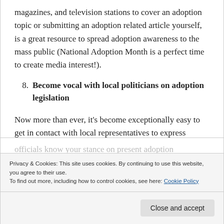magazines, and television stations to cover an adoption topic or submitting an adoption related article yourself, is a great resource to spread adoption awareness to the mass public (National Adoption Month is a perfect time to create media interest!).
8. Become vocal with local politicians on adoption legislation
Now more than ever, it's become exceptionally easy to get in contact with local representatives to express concerns on current adoption legislative
Privacy & Cookies: This site uses cookies. By continuing to use this website, you agree to their use. To find out more, including how to control cookies, see here: Cookie Policy
Close and accept
officials know your stance on present adoption